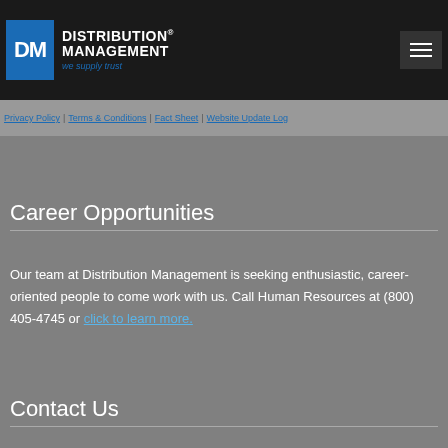[Figure (logo): Distribution Management logo with blue DM box and white text reading DISTRIBUTION MANAGEMENT with tagline 'we supply trust']
Privacy Policy | Terms & Conditions | Fact Sheet | Website Update Log
Career Opportunities
Our team at Distribution Management is seeking enthusiastic, career-oriented people to come work with us. Call Human Resources at (800) 405-4745 or click to learn more.
Contact Us